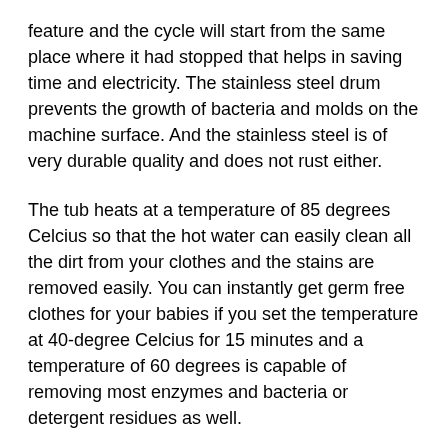feature and the cycle will start from the same place where it had stopped that helps in saving time and electricity. The stainless steel drum prevents the growth of bacteria and molds on the machine surface. And the stainless steel is of very durable quality and does not rust either.
The tub heats at a temperature of 85 degrees Celcius so that the hot water can easily clean all the dirt from your clothes and the stains are removed easily. You can instantly get germ free clothes for your babies if you set the temperature at 40-degree Celcius for 15 minutes and a temperature of 60 degrees is capable of removing most enzymes and bacteria or detergent residues as well.
Pros: